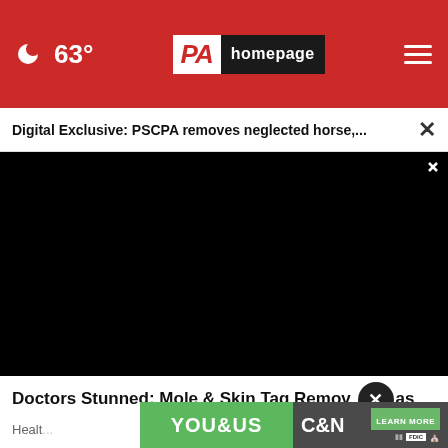63° PA homepage
Digital Exclusive: PSCPA removes neglected horse,...
[Figure (screenshot): Video player with black screen showing video controls: play button, mute button, fullscreen button]
Doctors Stunned: Mole & Skin Tag Remov... as Nev...
Healt...
[Figure (logo): YOU&US C&N bank advertisement banner with LEARN MORE button and FDIC logo]